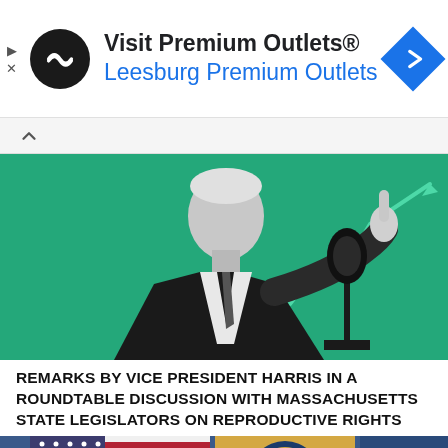[Figure (other): Advertisement banner: Visit Premium Outlets® Leesburg Premium Outlets with logo and navigation icon]
[Figure (photo): Black and white photo of a person in a suit pointing a finger at a microphone against a green background with a rising trend line chart]
REMARKS BY VICE PRESIDENT HARRIS IN A ROUNDTABLE DISCUSSION WITH MASSACHUSETTS STATE LEGISLATORS ON REPRODUCTIVE RIGHTS
[Figure (photo): Photo showing American flag and official seal/flag, with a partial view of a person]